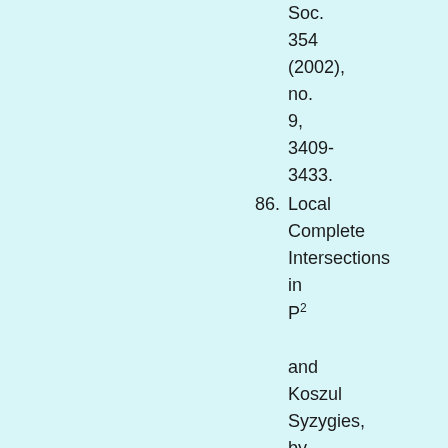Soc. 354 (2002), no. 9, 3409-3433.
86. Local Complete Intersections in P² and Koszul Syzygies, by David Cox and Hal Schenck; arXiv:math/0110097v1; appeared in: Proc.